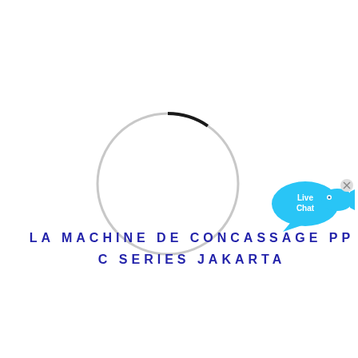[Figure (other): A loading spinner circle — thin light gray ring with a short dark/black arc segment at the top-right, indicating a page loading state]
[Figure (other): Live Chat widget button — a cyan/teal speech bubble with the text 'Live Chat' inside, with a small fish icon and an 'x' close button in the top-right corner]
LA MACHINE DE CONCASSAGE PP C SERIES JAKARTA